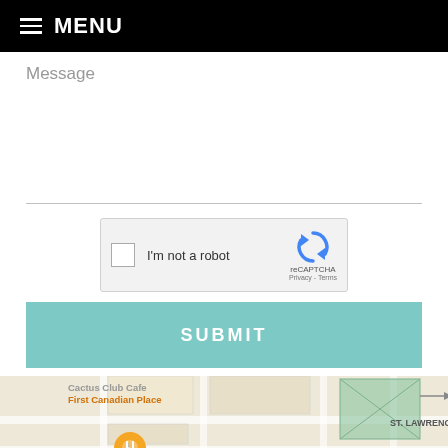MENU
Message
[Figure (screenshot): reCAPTCHA widget with checkbox labeled I'm not a robot, reCAPTCHA logo, Privacy - Terms links]
SUBMIT
[Figure (map): Google Maps screenshot showing Cactus Club Cafe, First Canadian Place, St. Lawrence Market, ST. LAWRENCE area labels with a restaurant pin icon]